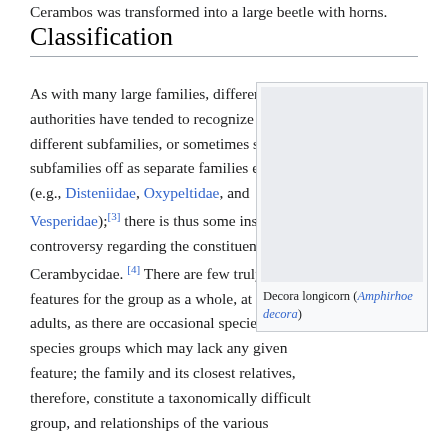Cerambos was transformed into a large beetle with horns.
Classification
As with many large families, different authorities have tended to recognize many different subfamilies, or sometimes split subfamilies off as separate families entirely (e.g., Disteniidae, Oxypeltidae, and Vesperidae);[3] there is thus some instability and controversy regarding the constituency of the Cerambycidae.[4] There are few truly defining features for the group as a whole, at least as adults, as there are occasional species or species groups which may lack any given feature; the family and its closest relatives, therefore, constitute a taxonomically difficult group, and relationships of the various
[Figure (photo): Gray placeholder image for Decora longicorn (Amphirhoe decora) beetle photograph]
Decora longicorn (Amphirhoe decora)